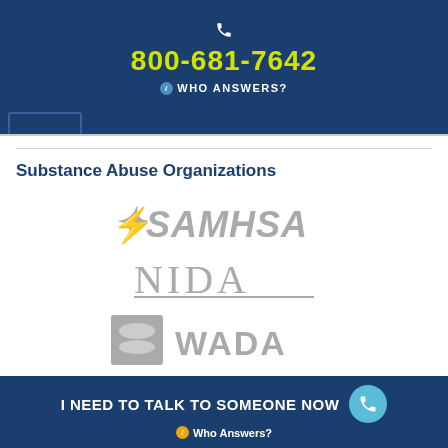800-681-7642 WHO ANSWERS?
Substance Abuse Organizations
[Figure (logo): SAMHSA logo with stylized figure and italic bold text]
[Figure (logo): NIDA logo in serif font with underline]
[Figure (logo): WADA logo with square icon and bold text]
[Figure (logo): NIAAA logo in bold gray text]
I NEED TO TALK TO SOMEONE NOW Who Answers?